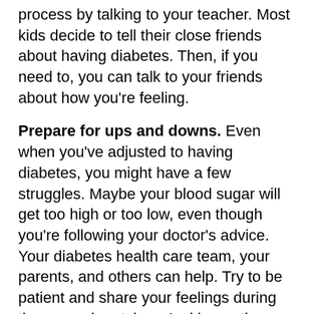process by talking to your teacher. Most kids decide to tell their close friends about having diabetes. Then, if you need to, you can talk to your friends about how you're feeling.
Prepare for ups and downs. Even when you've adjusted to having diabetes, you might have a few struggles. Maybe your blood sugar will get too high or too low, even though you're following your doctor's advice. Your diabetes health care team, your parents, and others can help. Try to be patient and share your feelings during those rough patches. And be on the lookout for good things that might happen along the way, too, like feeling confident, brave, and proud of all you're learning to do.
Reviewed by: Steven Dowshen, MD